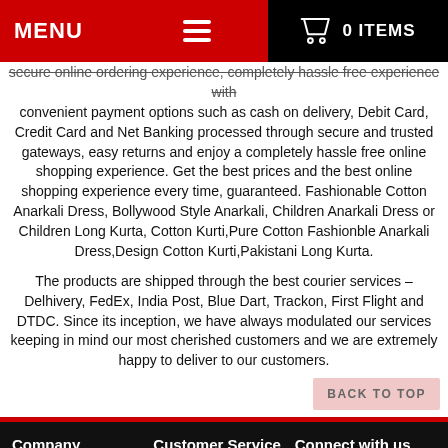MENU   0 ITEMS
secure online ordering experience, completely hassle free experience with convenient payment options such as cash on delivery, Debit Card, Credit Card and Net Banking processed through secure and trusted gateways, easy returns and enjoy a completely hassle free online shopping experience. Get the best prices and the best online shopping experience every time, guaranteed. Fashionable Cotton Anarkali Dress, Bollywood Style Anarkali, Children Anarkali Dress or Children Long Kurta, Cotton Kurti, Pure Cotton Fashionble Anarkali Dress, Design Cotton Kurti, Pakistani Long Kurta.
The products are shipped through the best courier services –Delhivery, FedEx, India Post, Blue Dart, Trackon, First Flight and DTDC. Since its inception, we have always modulated our services keeping in mind our most cherished customers and we are extremely happy to deliver to our customers.
Company | About Us | Contact Us | Delivery | Sell with Us | Customer Service | Privacy Policy | Return & Refund Policy | FAQ | Connect with us | Facebook | Google+ | Twitter